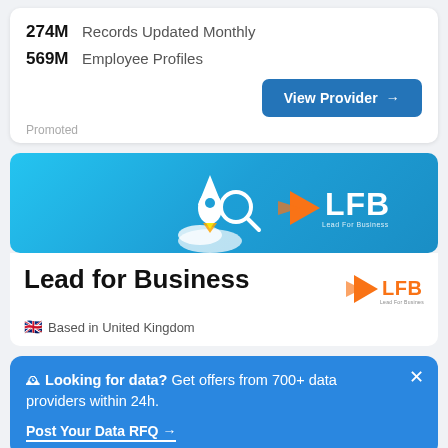274M Records Updated Monthly
569M Employee Profiles
View Provider →
Promoted
[Figure (logo): Lead For Business (LFB) banner with rocket/magnifier illustration and LFB logo on blue gradient background]
Lead for Business
🇬🇧 Based in United Kingdom
[Figure (logo): LFB (Lead For Business) logo — orange arrow triangle with text LFB and tagline Lead For Business]
🔔 Looking for data? Get offers from 700+ data providers within 24h.
Post Your Data RFQ →
85%